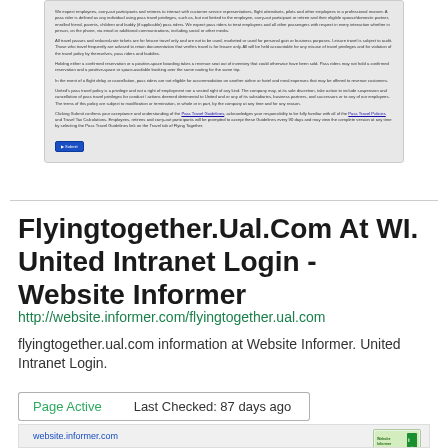[Figure (screenshot): Screenshot of a United Airlines pass travel policy web page with several paragraphs of text about pass travel guidelines, leisure travel rules, reservation policies, and a Submit button at the bottom.]
Flyingtogether.Ual.Com At WI. United Intranet Login - Website Informer
http://website.informer.com/flyingtogether.ual.com
flyingtogether.ual.com information at Website Informer. United Intranet Login.
Page Active    Last Checked: 87 days ago
[Figure (screenshot): Bottom preview strip showing website.informer.com branding and a green Website Informer logo badge.]